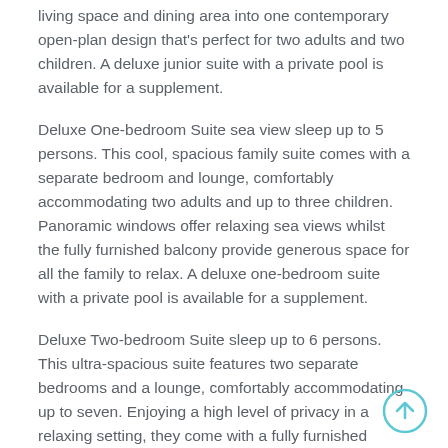living space and dining area into one contemporary open-plan design that's perfect for two adults and two children. A deluxe junior suite with a private pool is available for a supplement.
Deluxe One-bedroom Suite sea view sleep up to 5 persons. This cool, spacious family suite comes with a separate bedroom and lounge, comfortably accommodating two adults and up to three children. Panoramic windows offer relaxing sea views whilst the fully furnished balcony provide generous space for all the family to relax. A deluxe one-bedroom suite with a private pool is available for a supplement.
Deluxe Two-bedroom Suite sleep up to 6 persons. This ultra-spacious suite features two separate bedrooms and a lounge, comfortably accommodating up to seven. Enjoying a high level of privacy in a relaxing setting, they come with a fully furnished balcony and stunning views across the Mediterranean.. A deluxe two bedroom suite with a private pool is available for a supplement.
Ikos Deluxe Collection